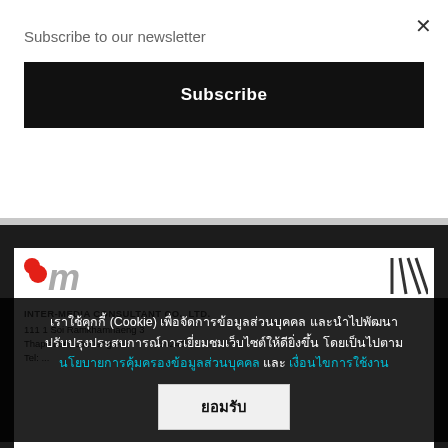Subscribe to our newsletter
Subscribe
เราใช้คุกกี้ (Cookie) เพื่อจัดการข้อมูลส่วนบุคคล และนำไปพัฒนาปรับปรุงประสบการณ์การเยี่ยมชมเว็บไซต์ให้ดียิ่งขึ้น โดยเป็นไปตาม นโยบายการคุ้มครองข้อมูลส่วนบุคคล และ เงื่อนไขการใช้งาน
ยอมรับ
INTER-MEDIA CONSULTANT CO., LTD.
111 1 Soi Ramkhamhaeng 3
Thaplaburi, La Klang P...           , 10240
Tel: ...